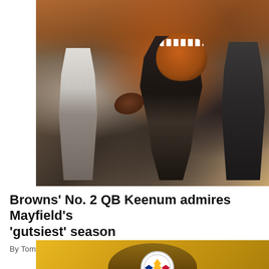[Figure (photo): Cleveland Browns quarterback in brown uniform with orange helmet throwing a football during warmups, with teammates and staff visible in background]
Browns' No. 2 QB Keenum admires Mayfield's 'gutsiest' season
By Tom Withers Jan. 05, 2022 04:20 PM EST
[Figure (photo): Person wearing a brown Pittsburgh Steelers winter beanie hat with the Steelers logo visible, against a yellow/gold background]